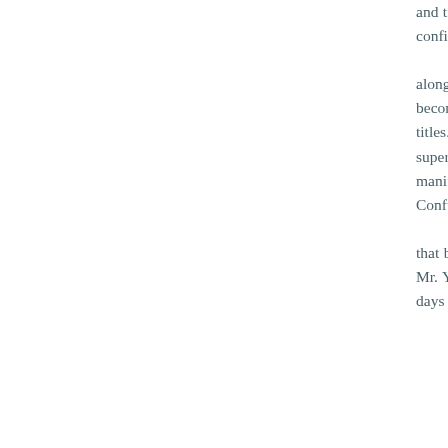and treated him as a teacher, but was not confined by him - so he could follow along to completion, becoming as a result a mere holder of titles. This is called making yourself superfluous, a method by which two manifestations can be attained.8 Confucius' injunction "Be done with schemes!"- you could let that be your tutor as well. Or Mr. Yung-ch'eng's saying, "Be done with days and there will be no